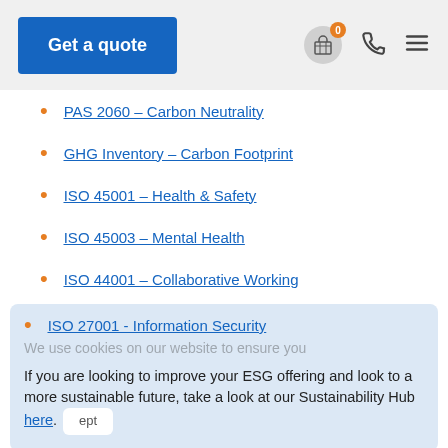Get a quote
PAS 2060 – Carbon Neutrality
GHG Inventory – Carbon Footprint
ISO 45001 – Health & Safety
ISO 45003 – Mental Health
ISO 44001 – Collaborative Working
ISO 27001 - Information Security
If you are looking to improve your ESG offering and look to a more sustainable future, take a look at our Sustainability Hub here.